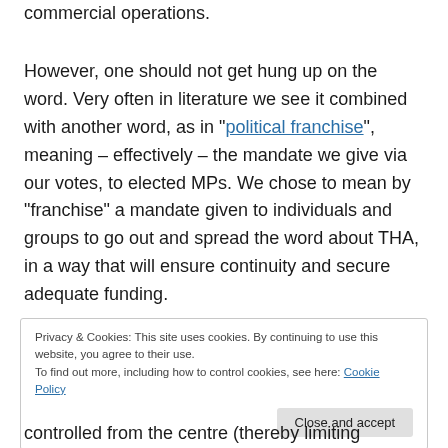commercial operations.
However, one should not get hung up on the word. Very often in literature we see it combined with another word, as in “political franchise”, meaning – effectively – the mandate we give via our votes, to elected MPs. We chose to mean by “franchise” a mandate given to individuals and groups to go out and spread the word about THA, in a way that will ensure continuity and secure adequate funding.
Privacy & Cookies: This site uses cookies. By continuing to use this website, you agree to their use.
To find out more, including how to control cookies, see here: Cookie Policy
controlled from the centre (thereby limiting